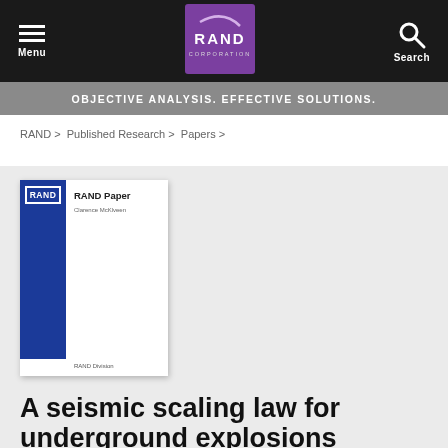Menu | RAND Corporation | Search
OBJECTIVE ANALYSIS. EFFECTIVE SOLUTIONS.
RAND > Published Research > Papers >
[Figure (illustration): RAND Corporation paper book cover with blue spine, RAND label, 'RAND Paper', author name, and 'RAND Division' text]
A seismic scaling law for underground explosions